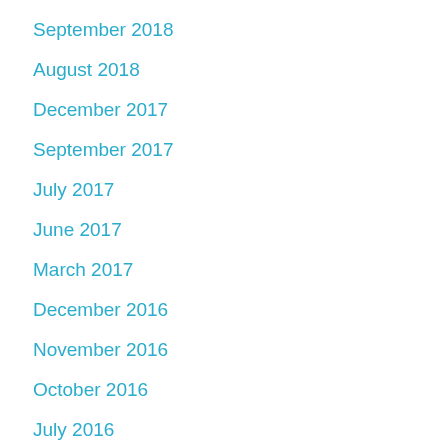September 2018
August 2018
December 2017
September 2017
July 2017
June 2017
March 2017
December 2016
November 2016
October 2016
July 2016
March 2016
December 2015
November 2015